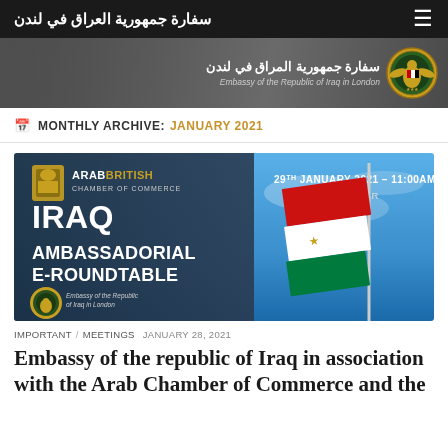سفارة جمهورية العراق في لندن
[Figure (photo): Embassy of the Republic of Iraq in London banner with Arabic text and Iraqi seal]
MONTHLY ARCHIVE: JANUARY 2021
[Figure (photo): Arab British Chamber of Commerce Iraq Ambassadorial E-Roundtable event poster, dated 29th January 2021 - 11:00AM, ABCC Webinar, with Iraqi flag in background]
IMPORTANT / MEETINGS  JANUARY 28, 2021
Embassy of the republic of Iraq in association with the Arab Chamber of Commerce and the